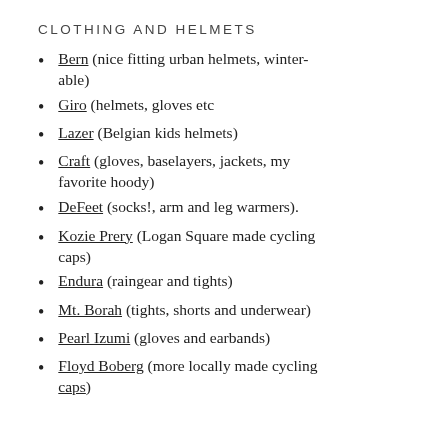CLOTHING AND HELMETS
Bern (nice fitting urban helmets, winter-able)
Giro (helmets, gloves etc
Lazer (Belgian kids helmets)
Craft (gloves, baselayers, jackets, my favorite hoody)
DeFeet (socks!, arm and leg warmers).
Kozie Prery (Logan Square made cycling caps)
Endura (raingear and tights)
Mt. Borah (tights, shorts and underwear)
Pearl Izumi (gloves and earbands)
Floyd Boberg (more locally made cycling caps)